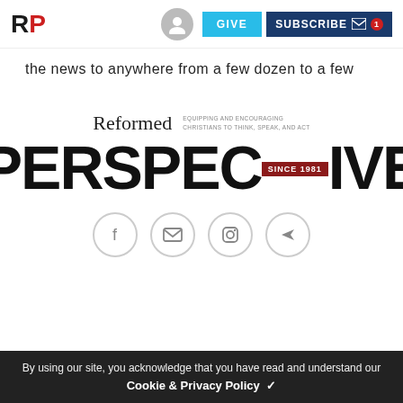RP logo, user icon, GIVE, SUBSCRIBE
the news to anywhere from a few dozen to a few
[Figure (logo): Reformed Perspective logo with tagline 'EQUIPPING AND ENCOURAGING CHRISTIANS TO THINK, SPEAK, AND ACT' and large 'PERSPECTIVE' text with 'SINCE 1981' badge]
[Figure (infographic): Social media icon buttons: Facebook, Email, Instagram, Share]
By using our site, you acknowledge that you have read and understand our Cookie & Privacy Policy ✓